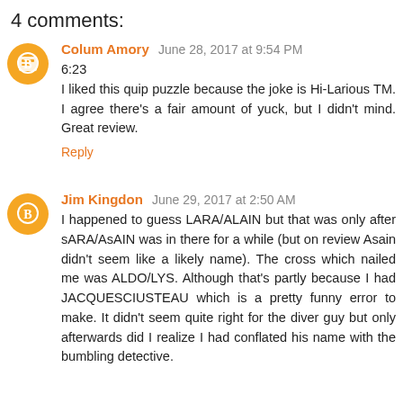4 comments:
Colum Amory June 28, 2017 at 9:54 PM
6:23
I liked this quip puzzle because the joke is Hi-Larious TM. I agree there's a fair amount of yuck, but I didn't mind. Great review.
Reply
Jim Kingdon June 29, 2017 at 2:50 AM
I happened to guess LARA/ALAIN but that was only after sARA/AsAIN was in there for a while (but on review Asain didn't seem like a likely name). The cross which nailed me was ALDO/LYS. Although that's partly because I had JACQUESCIUSTEAU which is a pretty funny error to make. It didn't seem quite right for the diver guy but only afterwards did I realize I had conflated his name with the bumbling detective.